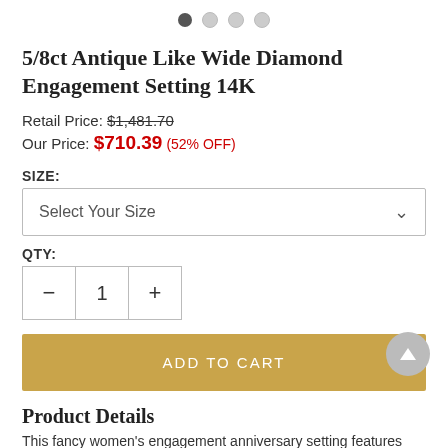[Figure (other): Four pagination dots: one filled dark, three empty/light gray]
5/8ct Antique Like Wide Diamond Engagement Setting 14K
Retail Price: $1,481.70
Our Price: $710.39 (52% OFF)
SIZE:
Select Your Size
QTY:
- 1 +
ADD TO CART
Product Details
This fancy women's engagement anniversary setting features